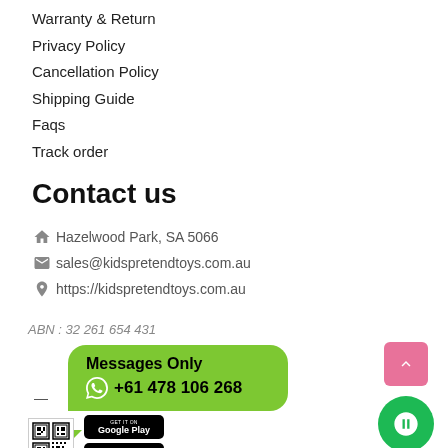Warranty & Return
Privacy Policy
Cancellation Policy
Shipping Guide
Faqs
Track order
Contact us
Hazelwood Park, SA 5066
sales@kidspretendtoys.com.au
https://kidspretendtoys.com.au
ABN : 32 261 654 431
[Figure (infographic): Green WhatsApp speech bubble with text 'Messages Only' and phone number '+61 478 106 268' with WhatsApp logo icon]
[Figure (infographic): QR code and Google Play download button at bottom left; pink scroll-to-top button and green chat circle button at bottom right]